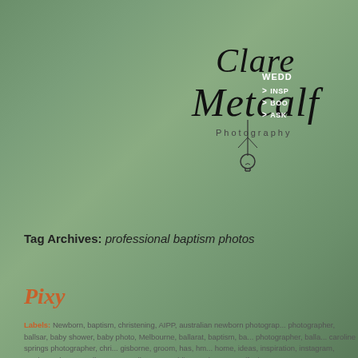[Figure (logo): Clare Metcalf Photography handwritten logo with lightbulb icon]
WEDD
> INSP
> BOO
> ASK
Tag Archives: professional baptism photos
Pixy
Labels: Newborn, baptism, christening, AIPP, australian newborn photographer, ballarat baby shower, baby photo, Melbourne, ballarat, baptism, ba... photographer, balla... caroline springs photographer, chri... gisborne, groom, has, hm... home, ideas, inspiration, instagram, newborn photos, melbourn... melbourne wedding, melton, metcalf, photos, pregnancy, pro... professional, professional baptism photos, rustic, spring, summ... baby photographer, Sunbury newborn, jakes, taylors lakes, ph... clasic, victoria, Wedding, wedding flowers, We...